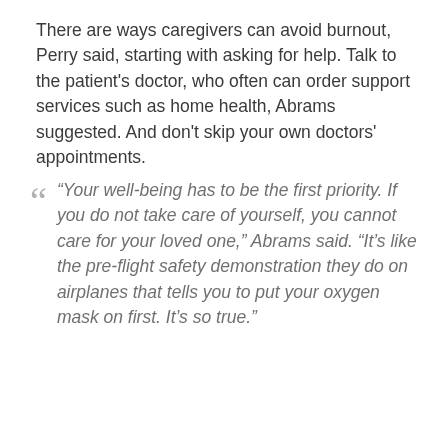There are ways caregivers can avoid burnout, Perry said, starting with asking for help. Talk to the patient's doctor, who often can order support services such as home health, Abrams suggested. And don't skip your own doctors' appointments.
“Your well-being has to be the first priority. If you do not take care of yourself, you cannot care for your loved one,” Abrams said. “It’s like the pre-flight safety demonstration they do on airplanes that tells you to put your oxygen mask on first. It’s so true.”